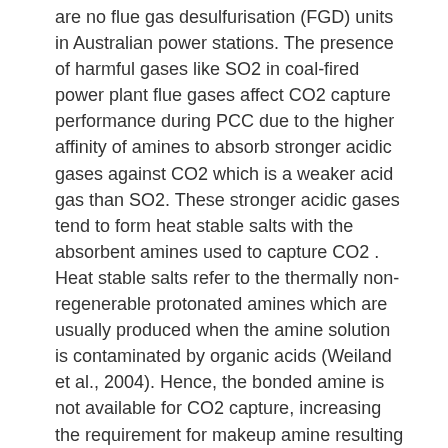are no flue gas desulfurisation (FGD) units in Australian power stations. The presence of harmful gases like SO2 in coal-fired power plant flue gases affect CO2 capture performance during PCC due to the higher affinity of amines to absorb stronger acidic gases against CO2 which is a weaker acid gas than SO2. These stronger acidic gases tend to form heat stable salts with the absorbent amines used to capture CO2 . Heat stable salts refer to the thermally non-regenerable protonated amines which are usually produced when the amine solution is contaminated by organic acids (Weiland et al., 2004). Hence, the bonded amine is not available for CO2 capture, increasing the requirement for makeup amine resulting in higher operating cost. Therefore, FGD units are an essential requirement before the installation of PCC facilities in a coal-fired power station. This results in a levelised cost of electricity in Australian power plants that is high compared to nations which have FGD installed in their power stations. CSIRO has developed a combined capture